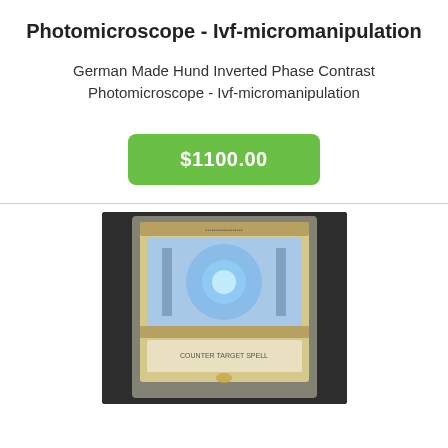Photomicroscope - Ivf-micromanipulation
German Made Hund Inverted Phase Contrast Photomicroscope - Ivf-micromanipulation
$1100.00
[Figure (photo): Photo of a trading card in a plastic sleeve showing a glowing blue figure, placed on a dark surface. Card text reads COUNTER TARGET SPELL.]